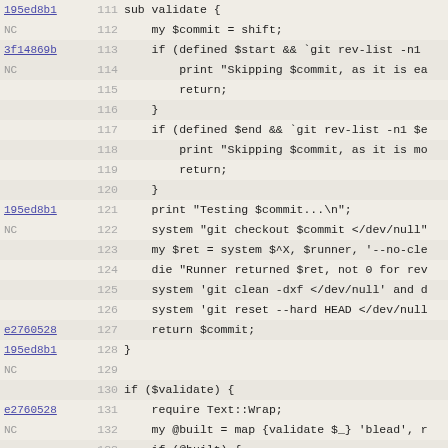[Figure (screenshot): Git blame view of a Perl script showing line numbers 111-142, with commit hashes in the left column and code content on the right. Commit hashes shown: 195ed8b1, 3f14869b, e2760528, c382b335. Lines contain Perl code for a validate subroutine and git bisect-related logic.]